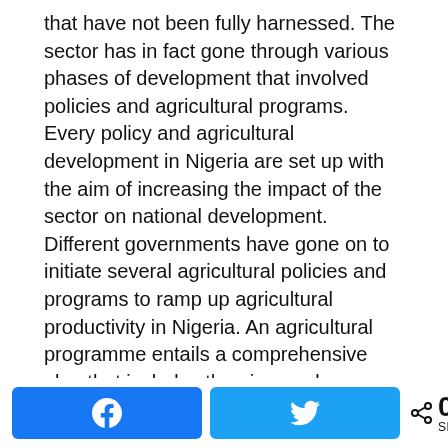that have not been fully harnessed. The sector has in fact gone through various phases of development that involved policies and agricultural programs. Every policy and agricultural development in Nigeria are set up with the aim of increasing the impact of the sector on national development. Different governments have gone on to initiate several agricultural policies and programs to ramp up agricultural productivity in Nigeria. An agricultural programme entails a comprehensive plan that includes the aims and objectives to be attained in the agricultural sector, the resources required and other activities to be performed in order to achieve certain goals in the agricultural sector. The use of agricultural programs as a tool to achieve productivity in Nigeria dates back to the colonial era and even many more programmes have been set up
0 SHARES